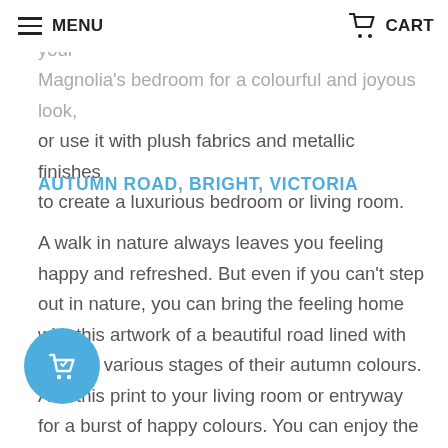MENU   CART
vibe to interior spaces. Display the print in your Magnolia's bedroom for a colourful and joyous look, or use it with plush fabrics and metallic finishes to create a luxurious bedroom or living room.
AUTUMN ROAD, BRIGHT, VICTORIA
A walk in nature always leaves you feeling happy and refreshed. But even if you can't step out in nature, you can bring the feeling home with this artwork of a beautiful road lined with trees in various stages of their autumn colours. Add this print to your living room or entryway for a burst of happy colours. You can enjoy the stillness of the landscape and the trees in all their beauty, just as if you were on an early morning stroll. If you work from home, take a look at this image during short work breaks to